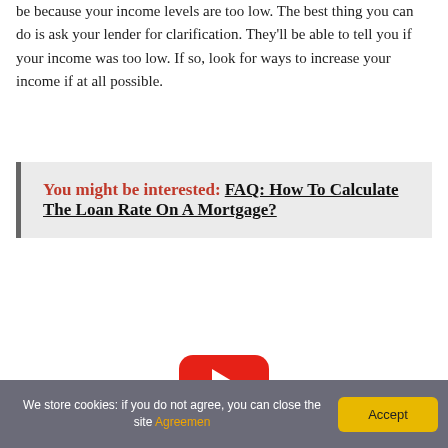be because your income levels are too low. The best thing you can do is ask your lender for clarification. They'll be able to tell you if your income was too low. If so, look for ways to increase your income if at all possible.
You might be interested: FAQ: How To Calculate The Loan Rate On A Mortgage?
[Figure (other): YouTube play button icon — red rounded rectangle with white triangle play arrow]
We store cookies: if you do not agree, you can close the site Agreemen Accept